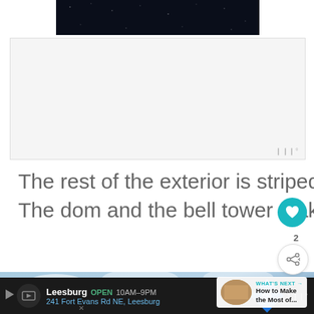[Figure (photo): Dark night sky image at top of page]
[Figure (photo): Advertisement placeholder box with Wattpad logo]
The rest of the exterior is striped in striking dark green and white. The dom and the bell tower make for a perfect picture.
[Figure (photo): Sky and church spire photo at bottom]
[Figure (screenshot): WHAT'S NEXT panel: How to Make the Most of...]
[Figure (screenshot): Bottom ad banner: Leesburg OPEN 10AM-9PM, 241 Fort Evans Rd NE, Leesburg with navigation icons]